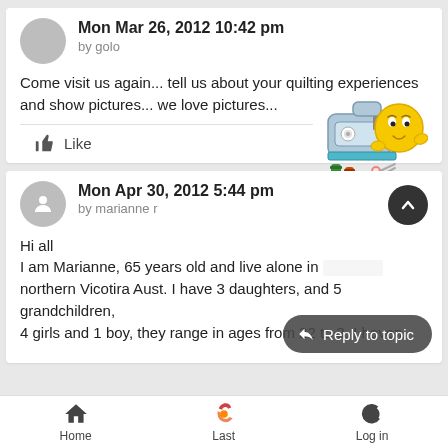Mon Mar 26, 2012 10:42 pm
by golo
Come visit us again... tell us about your quilting experiences and show pictures... we love pictures...
[Figure (illustration): Smiley face emoji with sewing machine, thread spools and scissors]
Like
Mon Apr 30, 2012 5:44 pm
by marianne r
Hi all
I am Marianne, 65 years old and live alone in northern Vicotira Aust. I have 3 daughters, and 5 grandchildren, 4 girls and 1 boy, they range in ages from 22 to 3. I haven
Reply to topic
Home   Last   Log in